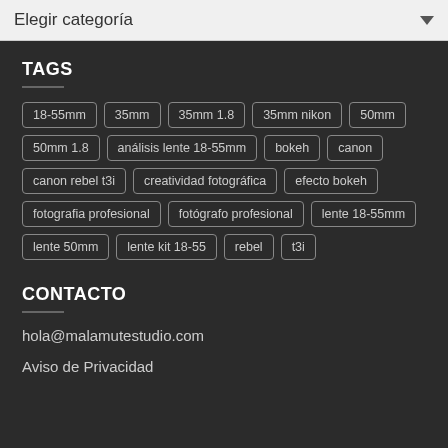Elegir categoría
TAGS
18-55mm
35mm
35mm 1.8
35mm nikon
50mm
50mm 1.8
análisis lente 18-55mm
bokeh
canon
canon rebel t3i
creatividad fotográfica
efecto bokeh
fotografia profesional
fotógrafo profesional
lente 18-55mm
lente 50mm
lente kit 18-55
rebel
t3i
CONTACTO
hola@malamutestudio.com
Aviso de Privacidad